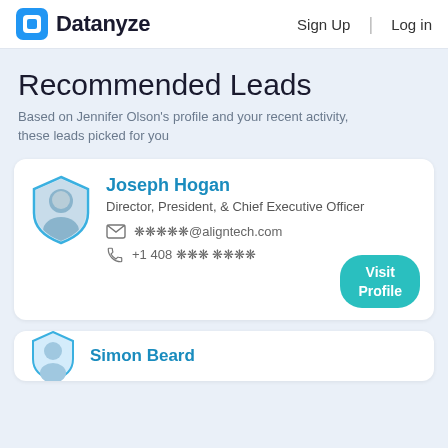Datanyze | Sign Up | Log in
Recommended Leads
Based on Jennifer Olson's profile and your recent activity, these leads picked for you
Joseph Hogan
Director, President, & Chief Executive Officer
✉ ❋❋❋❋❋@aligntech.com
☎ +1 408 ❋❋❋ ❋❋❋❋
Visit Profile
Simon Beard